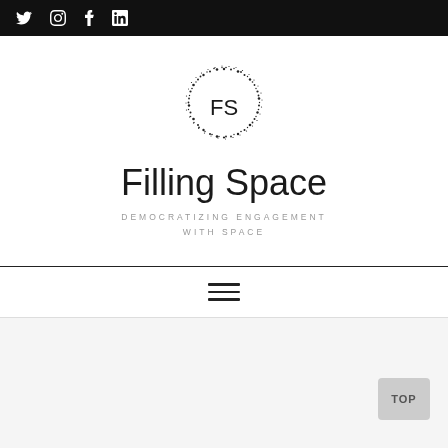Social media icons: Twitter, Instagram, Facebook, LinkedIn
[Figure (logo): Circular dotted/stippled logo with 'FS' letters in the center, used as the Filling Space brand logo]
Filling Space
DEMOCRATIZING ENGAGEMENT WITH SPACE
[Figure (other): Hamburger menu icon (three horizontal lines)]
[Figure (other): TOP button in bottom-right corner]